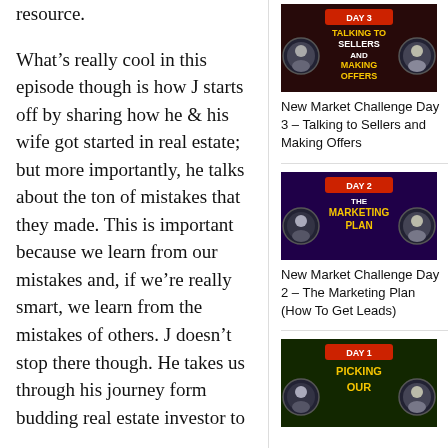resource.
What’s really cool in this episode though is how J starts off by sharing how he & his wife got started in real estate; but more importantly, he talks about the ton of mistakes that they made. This is important because we learn from our mistakes and, if we’re really smart, we learn from the mistakes of others. J doesn’t stop there though. He takes us through his journey form budding real estate investor to
[Figure (screenshot): Day 3 – Talking to Sellers and Making Offers thumbnail with two host portraits on red/dark background]
New Market Challenge Day 3 – Talking to Sellers and Making Offers
[Figure (screenshot): Day 2 – The Marketing Plan thumbnail with two host portraits on purple/dark background]
New Market Challenge Day 2 – The Marketing Plan (How To Get Leads)
[Figure (screenshot): Day 1 – Picking Our thumbnail with hosts on dark background]